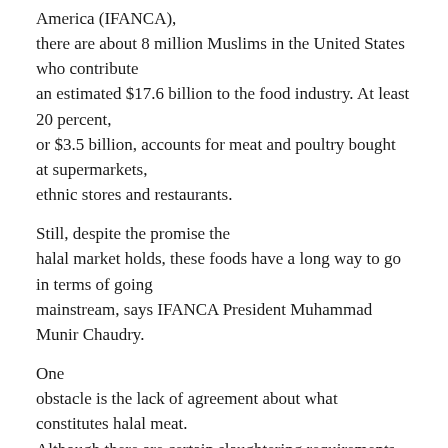America (IFANCA), there are about 8 million Muslims in the United States who contribute an estimated $17.6 billion to the food industry. At least 20 percent, or $3.5 billion, accounts for meat and poultry bought at supermarkets, ethnic stores and restaurants.
Still, despite the promise the halal market holds, these foods have a long way to go in terms of going mainstream, says IFANCA President Muhammad Munir Chaudry.
One obstacle is the lack of agreement about what constitutes halal meat. Although there are certain slaughtering requirements that are absolute — the slaughterer must be a good Muslim and must say the name of God before cutting the animal's throat — points of debate include how the throat should be cut and whether the animal should be